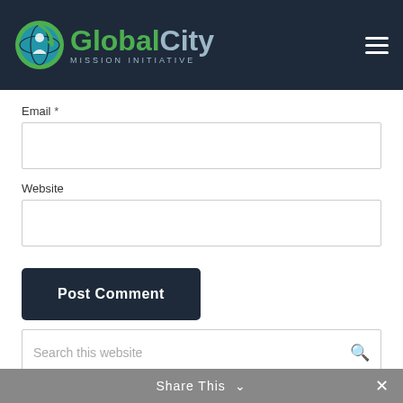[Figure (logo): Global City Mission Initiative logo with globe icon, green 'Global' and gray 'City' text, and 'MISSION INITIATIVE' subtitle on dark navy background]
Email *
Website
Post Comment
Search this website
Recent Posts
Washington D.C. is the largest Ethiopian community
Share This